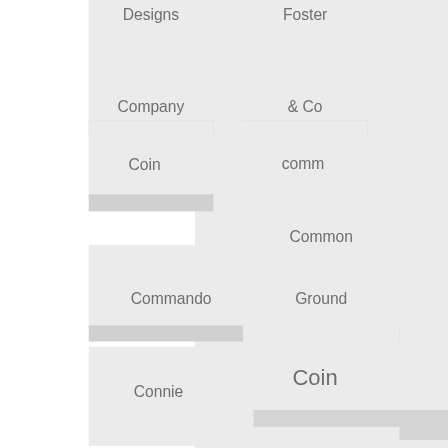[Figure (infographic): Grid of overlapping rectangular blocks with text labels: Designs, Foster, Company, & Co, Coin, comm, Common, Commando, Ground, Connie]
Designs
Foster
Company
& Co
Coin
comm
Common
Commando
Ground
Connie